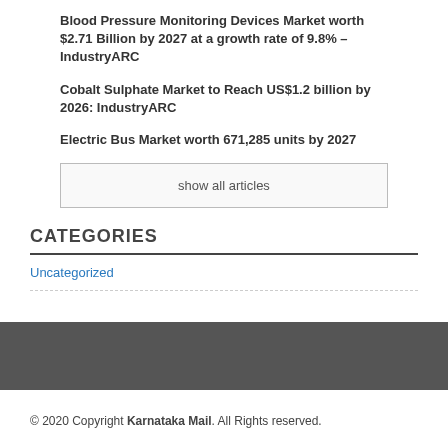Blood Pressure Monitoring Devices Market worth $2.71 Billion by 2027 at a growth rate of 9.8% – IndustryARC
Cobalt Sulphate Market to Reach US$1.2 billion by 2026: IndustryARC
Electric Bus Market worth 671,285 units by 2027
show all articles
CATEGORIES
Uncategorized
© 2020 Copyright Karnataka Mail. All Rights reserved.